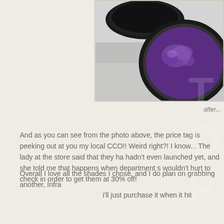[Figure (photo): Close-up photo of two black compact eyeshadow containers, one open showing a vibrant purple/violet shimmery eyeshadow, on a light reflective surface. Photo is cropped showing partial view.]
after...
And as you can see from the photo above, the price tag is peeking out at you my local CCO!! Weird right?! I know... The lady at the store said that they ha hadn't even launched yet, and she told me that happens when department s wouldn't hurt to check in order to get them at 30% off!
Overall I love all the shades I chose, and I do plan on grabbing another, Infra i'll just purchase it when it hit